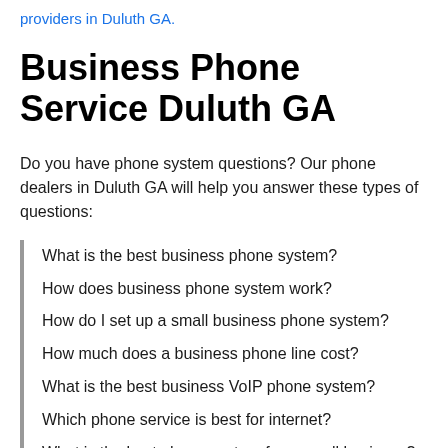providers in Duluth GA.
Business Phone Service Duluth GA
Do you have phone system questions? Our phone dealers in Duluth GA will help you answer these types of questions:
What is the best business phone system?
How does business phone system work?
How do I set up a small business phone system?
How much does a business phone line cost?
What is the best business VoIP phone system?
Which phone service is best for internet?
What is the best phone system for a small business?